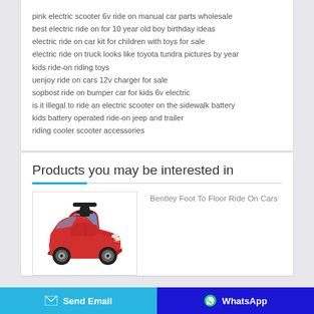pink electric scooter 6v ride on manual car parts wholesale
best electric ride on for 10 year old boy birthday ideas
electric ride on car kit for children with toys for sale
electric ride on truck looks like toyota tundra pictures by year
kids ride-on riding toys
uenjoy ride on cars 12v charger for sale
sopbost ride on bumper car for kids 6v electric
is it illegal to ride an electric scooter on the sidewalk battery
kids battery operated ride-on jeep and trailer
riding cooler scooter accessories
Products you may be interested in
Bentley Foot To Floor Ride On Cars
[Figure (photo): Red Bentley-style children's ride-on toy car, foot-to-floor push car with black steering bar and wheels]
Send Email
WhatsApp